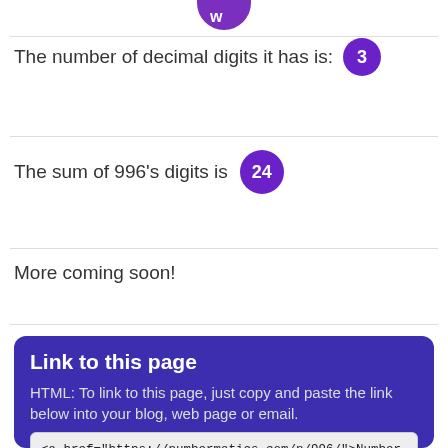[Figure (logo): Purple rounded logo/icon at top center]
The number of decimal digits it has is: 3
The sum of 996's digits is 24
More coming soon!
Link to this page
HTML: To link to this page, just copy and paste the link below into your blog, web page or email.
<a href="https://numbermatics.com/n/996/">Number 996 - Facts about the integer</a>
BBCODE: To link to this page in a forum post or comment box, just copy and paste the link code below:
[url=https://numbermatics.com/n/996/]Number 996 - Facts about the integer[/url]